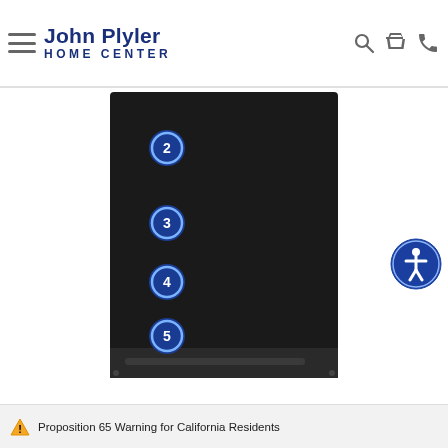John Plyler HOME CENTER
[Figure (screenshot): Product detail image of a black dishwasher or appliance panel with numbered callout circles (2, 3, 4, 5) on the left side, shown against a white background on the John Plyler Home Center website]
Proposition 65 Warning for California Residents